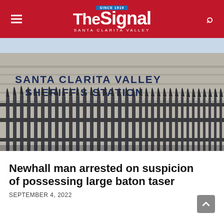The Signal — Santa Clarita Valley (Since 1919)
[Figure (photo): Exterior photo of the Santa Clarita Valley Sheriff's Station building, showing large dark metal fence/gate bars in the foreground and the building facade with 'SANTA CLARITA VALLEY SHERIFF'S STATION' lettering in the background.]
Newhall man arrested on suspicion of possessing large baton taser
SEPTEMBER 4, 2022